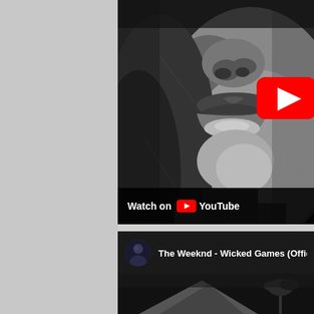[Figure (screenshot): YouTube video thumbnail showing a black and white close-up of a person's lower face/lips with a YouTube play button overlay. Below the thumbnail is a 'Watch on YouTube' bar, and then a video info row showing a channel avatar and the video title 'The Weeknd - Wicked Games (Official Vi...' with a bottom thumbnail strip below.]